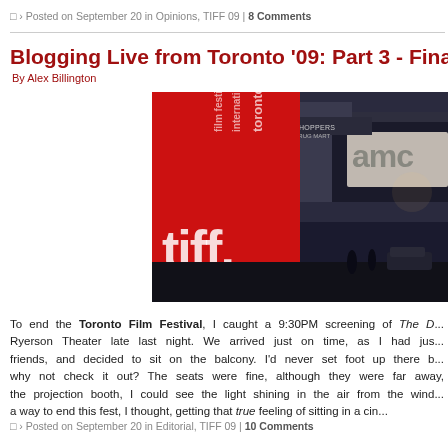› Posted on September 20 in Opinions, TIFF 09 | 8 Comments
Blogging Live from Toronto '09: Part 3 - Final Fes
By Alex Billington
[Figure (photo): TIFF Toronto International Film Festival banner/column and AMC theater in background at night]
To end the Toronto Film Festival, I caught a 9:30PM screening of The D... Ryerson Theater late last night. We arrived just on time, as I had jus... friends, and decided to sit on the balcony. I'd never set foot up there b... why not check it out? The seats were fine, although they were far away,... the projection booth, I could see the light shining in the air from the wind... a way to end this fest, I thought, getting that true feeling of sitting in a cin...
› Posted on September 20 in Editorial, TIFF 09 | 10 Comments